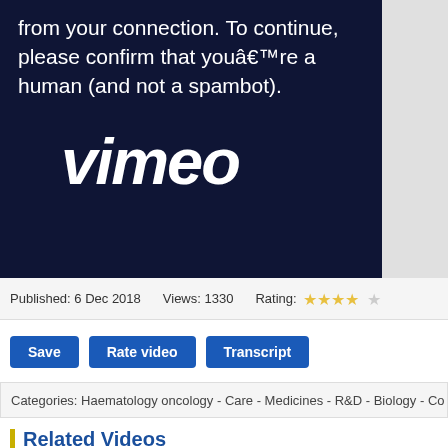[Figure (screenshot): Vimeo video player showing CAPTCHA verification message 'from your connection. To continue, please confirm that youâ€™re a human (and not a spambot).' with Vimeo logo in white on dark navy background]
Published: 6 Dec 2018   Views: 1330   Rating: ★★★★☆
Save   Rate video   Transcript
Categories: Haematology oncology - Care - Medicines - R&D - Biology - Co
Related Videos